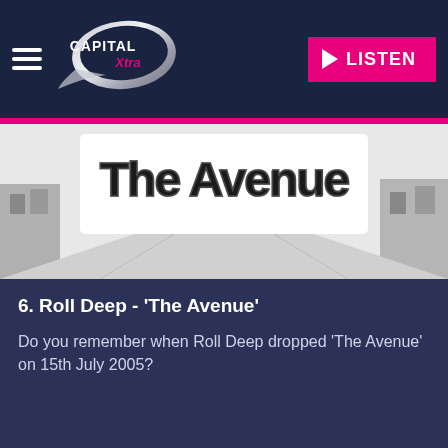[Figure (logo): Capital Xtra radio station logo — metallic shield shape with 'CAPITAL' in bold white text and 'Xtra' in pink cursive below]
[Figure (illustration): Black and white graffiti-style artwork showing stylized text, appears to be album artwork for Roll Deep 'The Avenue']
6. Roll Deep - 'The Avenue'
Do you remember when Roll Deep dropped 'The Avenue' on 15th July 2005?